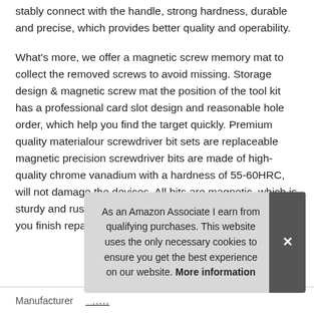stably connect with the handle, strong hardness, durable and precise, which provides better quality and operability.
What's more, we offer a magnetic screw memory mat to collect the removed screws to avoid missing. Storage design & magnetic screw mat the position of the tool kit has a professional card slot design and reasonable hole order, which help you find the target quickly. Premium quality materialour screwdriver bit sets are replaceable magnetic precision screwdriver bits are made of high-quality chrome vanadium with a hardness of 55-60HRC, will not damage the devices. All bits are magnetic, which is sturdy and rustless. The magnetic screwdriver kit helps you finish repair work flexibly and acc
As an Amazon Associate I earn from qualifying purchases. This website uses the only necessary cookies to ensure you get the best experience on our website. More information
| Manufacturer |  |
| --- | --- |
| Manufacturer | ..... |